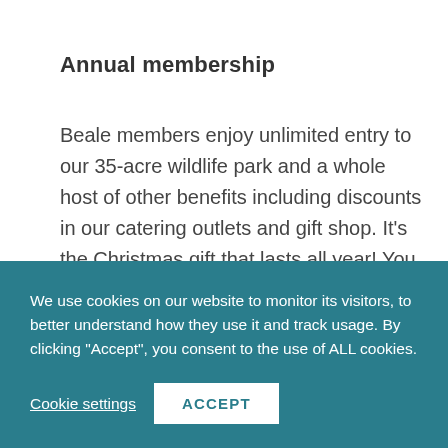Annual membership
Beale members enjoy unlimited entry to our 35-acre wildlife park and a whole host of other benefits including discounts in our catering outlets and gift shop. It’s the Christmas gift that lasts all year! You can buy the equivalent amount in gift vouchers to allow the recipient to exchange for a membership in person.
We use cookies on our website to monitor its visitors, to better understand how they use it and track usage. By clicking “Accept”, you consent to the use of ALL cookies.
Cookie settings
ACCEPT